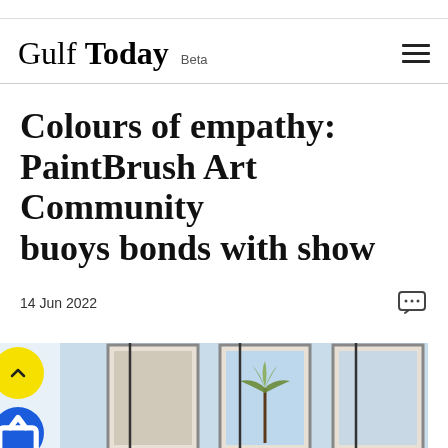Gulf Today Beta
Colours of empathy: PaintBrush Art Community buoys bonds with show
14 Jun 2022
[Figure (photo): Artwork photograph showing framed paintings with palm trees, displayed on a light blue background. Yellow scroll-up button and blue share button visible on the left.]